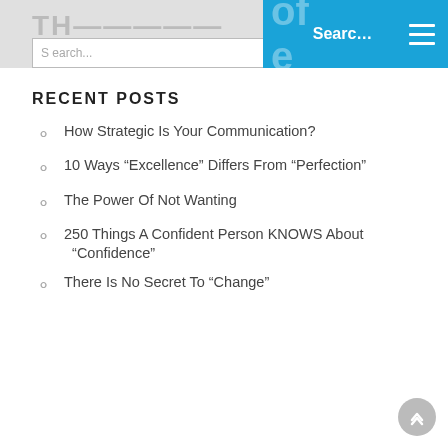Search...  Search
RECENT POSTS
How Strategic Is Your Communication?
10 Ways “Excellence” Differs From “Perfection”
The Power Of Not Wanting
250 Things A Confident Person KNOWS About “Confidence”
There Is No Secret To “Change”